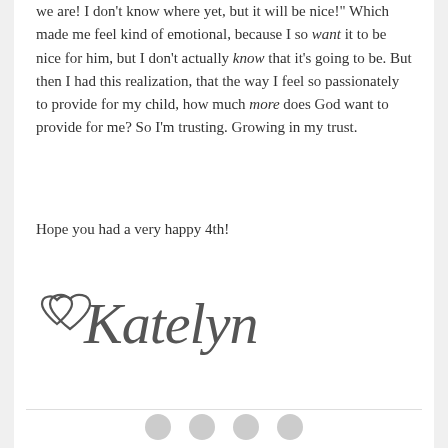we are! I don't know where yet, but it will be nice!" Which made me feel kind of emotional, because I so want it to be nice for him, but I don't actually know that it's going to be. But then I had this realization, that the way I feel so passionately to provide for my child, how much more does God want to provide for me? So I'm trusting. Growing in my trust.
Hope you had a very happy 4th!
[Figure (illustration): Handwritten cursive signature reading 'Katelyn' with two heart outlines drawn to the left of the name]